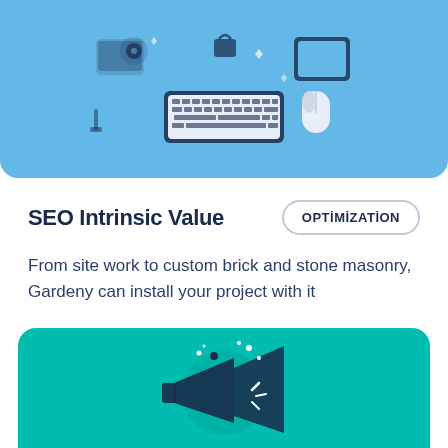[Figure (illustration): Blue rounded card with digital/technology icons including keyboard, mouse, lock, gear, tablet, megaphone on light blue background]
SEO Intrinsic Value
OPTIMIZATION
From site work to custom brick and stone masonry, Gardeny can install your project with it
barishan • Temmuz 12, 2019 • 13
[Figure (illustration): Teal/turquoise rounded card with megaphone/announcement illustration with dots and shine elements]